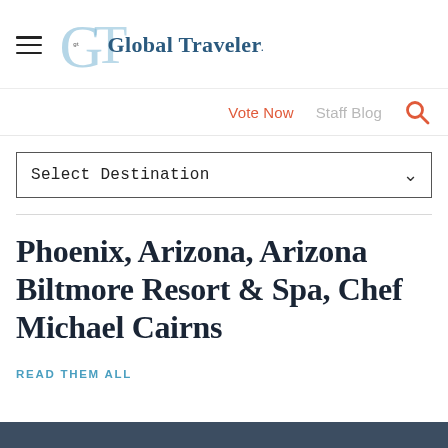Global Traveler
Vote Now  Staff Blog
Select Destination
Phoenix, Arizona, Arizona Biltmore Resort & Spa, Chef Michael Cairns
READ THEM ALL